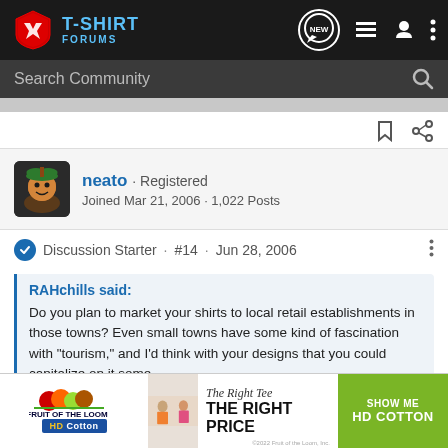[Figure (screenshot): T-Shirt Forums navigation bar with logo, NEW button, list icon, user icon, and more menu]
Search Community
neato · Registered
Joined Mar 21, 2006 · 1,022 Posts
Discussion Starter · #14 · Jun 28, 2006
RAHchills said:
Do you plan to market your shirts to local retail establishments in those towns? Even small towns have some kind of fascination with "tourism," and I'd think with your designs that you could capitalize on it some
I was so
[Figure (infographic): Fruit of the Loom HD Cotton advertisement banner]